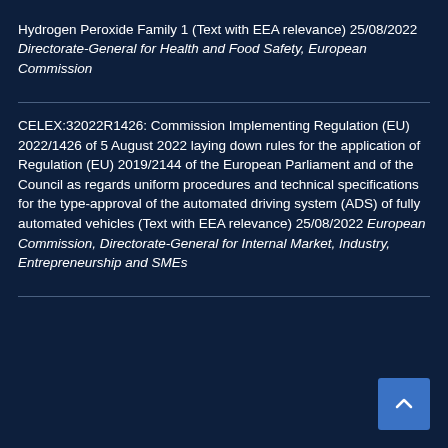Hydrogen Peroxide Family 1 (Text with EEA relevance) 25/08/2022 Directorate-General for Health and Food Safety, European Commission
CELEX:32022R1426: Commission Implementing Regulation (EU) 2022/1426 of 5 August 2022 laying down rules for the application of Regulation (EU) 2019/2144 of the European Parliament and of the Council as regards uniform procedures and technical specifications for the type-approval of the automated driving system (ADS) of fully automated vehicles (Text with EEA relevance) 25/08/2022 European Commission, Directorate-General for Internal Market, Industry, Entrepreneurship and SMEs